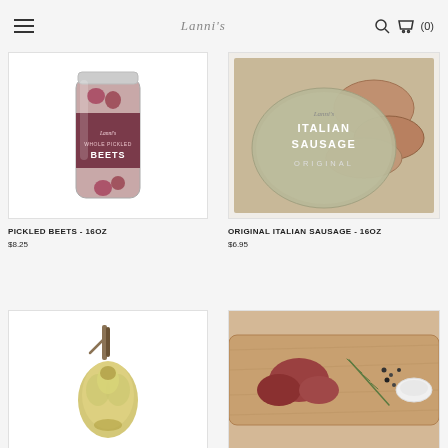Lanni's — Search — Cart (0)
[Figure (photo): Jar of Whole Pickled Beets with dark red label]
PICKLED BEETS - 16OZ
$8.25
[Figure (photo): Package of Original Italian Sausage with olive green label]
ORIGINAL ITALIAN SAUSAGE - 16OZ
$6.95
[Figure (photo): Artichoke or similar vegetable on white background]
[Figure (photo): Raw meat on wooden cutting board with herbs and spices]